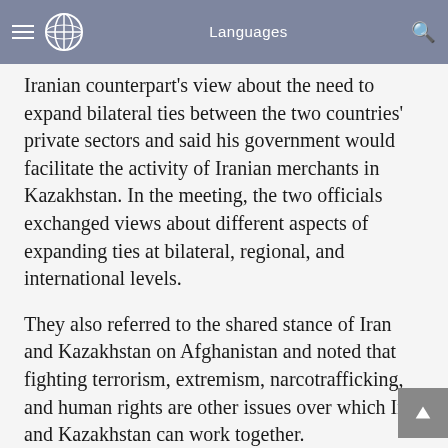Languages
Iranian counterpart's view about the need to expand bilateral ties between the two countries' private sectors and said his government would facilitate the activity of Iranian merchants in Kazakhstan. In the meeting, the two officials exchanged views about different aspects of expanding ties at bilateral, regional, and international levels.
They also referred to the shared stance of Iran and Kazakhstan on Afghanistan and noted that fighting terrorism, extremism, narcotrafficking, and human rights are other issues over which Iran and Kazakhstan can work together.
206
Read More:
Iran to export home appliances, medical equipment to Kazakhstan: Minister